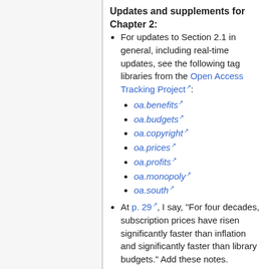Updates and supplements for Chapter 2:
For updates to Section 2.1 in general, including real-time updates, see the following tag libraries from the Open Access Tracking Project:
oa.benefits
oa.budgets
oa.copyright
oa.prices
oa.profits
oa.monopoly
oa.south
At p. 29, I say, "For four decades, subscription prices have risen significantly faster than inflation and significantly faster than library budgets." Add these notes.
Correction. In endnote 2 at p.